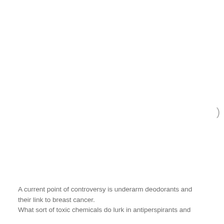A current point of controversy is underarm deodorants and their link to breast cancer. What sort of toxic chemicals do lurk in antiperspirants and